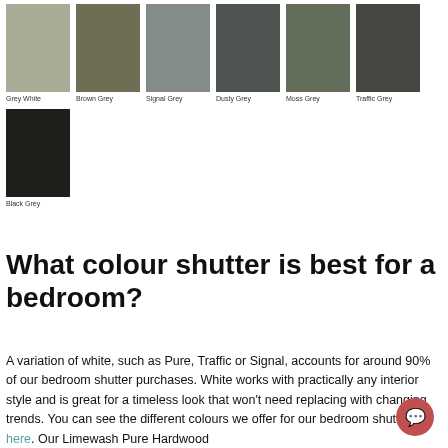[Figure (illustration): Color swatches grid showing 7 paint colors: Grey White (light sage), Brown Grey (dark olive), Signal Grey (medium grey), Dusty Grey (dark slate), Moss Grey (muted green-grey), Traffic Grey (dark charcoal), and Black Grey (near black). Each swatch is a colored rectangle with a label below.]
What colour shutter is best for a bedroom?
A variation of white, such as Pure, Traffic or Signal, accounts for around 90% of our bedroom shutter purchases. White works with practically any interior style and is great for a timeless look that won't need replacing with changing trends. You can see the different colours we offer for our bedroom shutters here. Our Limewash Pure Hardwood